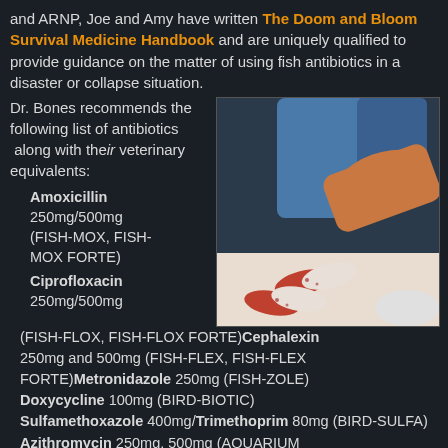and ARNP, Joe and Amy have written The Doom and Bloom Survival Medicine Handbook and are uniquely qualified to provide guidance on the matter of using fish antibiotics in a disaster or collapse situation.
Dr. Bones recommends the following list of antibiotics along with their veterinary equivalents:
[Figure (photo): Photograph of prescription pill bottles with red and white capsules spilled out, on a white surface with a blue liquid bottle in the background.]
Amoxicillin 250mg/500mg (FISH-MOX, FISH-MOX FORTE)
Ciprofloxacin 250mg/500mg (FISH-FLOX, FISH-FLOX FORTE)
Cephalexin 250mg and 500mg (FISH-FLEX, FISH-FLEX FORTE)
Metronidazole 250mg (FISH-ZOLE)
Doxycycline 100mg (BIRD-BIOTIC)
Sulfamethoxazole 400mg/Trimethoprim 80mg (BIRD-SULFA)
Azithromycin 250mg, 500mg (AQUARIUM